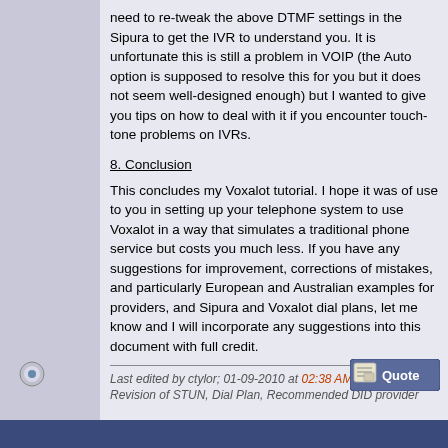need to re-tweak the above DTMF settings in the Sipura to get the IVR to understand you. It is unfortunate this is still a problem in VOIP (the Auto option is supposed to resolve this for you but it does not seem well-designed enough) but I wanted to give you tips on how to deal with it if you encounter touch-tone problems on IVRs.
8. Conclusion
This concludes my Voxalot tutorial. I hope it was of use to you in setting up your telephone system to use Voxalot in a way that simulates a traditional phone service but costs you much less. If you have any suggestions for improvement, corrections of mistakes, and particularly European and Australian examples for providers, and Sipura and Voxalot dial plans, let me know and I will incorporate any suggestions into this document with full credit.
Last edited by ctylor; 01-09-2010 at 02:38 AM. Reason: Revision of STUN, Dial Plan, Recommended DID provider